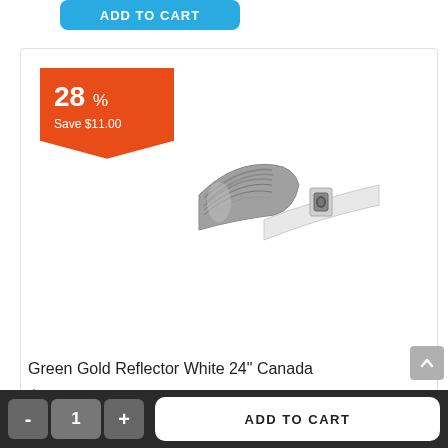[Figure (screenshot): Partial 'ADD TO CART' button visible at top of page (cropped)]
[Figure (photo): Green Gold Reflector White 24 inch Canada product image showing a grey and white reflector hood]
Green Gold Reflector White 24" Canada
$28.95  $39.95
[Figure (screenshot): ADD TO CART button in blue]
[Figure (screenshot): Partial view of next product with orange badge and product image at bottom]
[Figure (screenshot): Bottom bar with quantity selector (-  1  +) and ADD TO CART button]